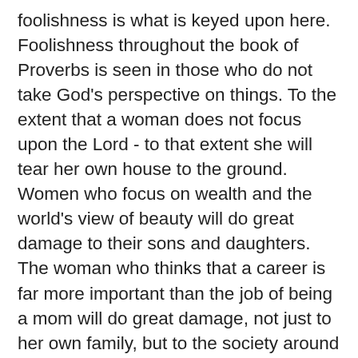foolishness is what is keyed upon here. Foolishness throughout the book of Proverbs is seen in those who do not take God's perspective on things. To the extent that a woman does not focus upon the Lord - to that extent she will tear her own house to the ground. Women who focus on wealth and the world's view of beauty will do great damage to their sons and daughters. The woman who thinks that a career is far more important than the job of being a mom will do great damage, not just to her own family, but to the society around them. Multiply this attitude a million-fold in a society and you have the makings of that societies' downfall. She can teach her daughters that they should focus on chasing men rather than seeking God. She can have them think that a man is gotten by her female wiles rather than by her chaste and godly character. Such foolish women have destroyed